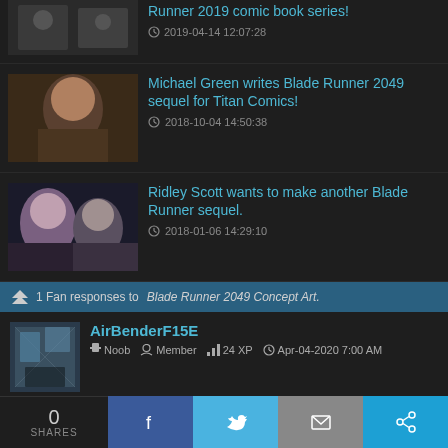Runner 2019 comic book series!
2019-04-14 12:07:28
Michael Green writes Blade Runner 2049 sequel for Titan Comics!
2018-10-04 14:50:38
Ridley Scott wants to make another Blade Runner sequel.
2018-01-06 14:29:10
1 Fan responses to Blade Runner 2049 Concept Art.
AirBenderF15E
Noob  Member  24 XP  Apr-04-2020 7:00 AM
Nice collection of art!
0 SHARES  f  t  mail  share